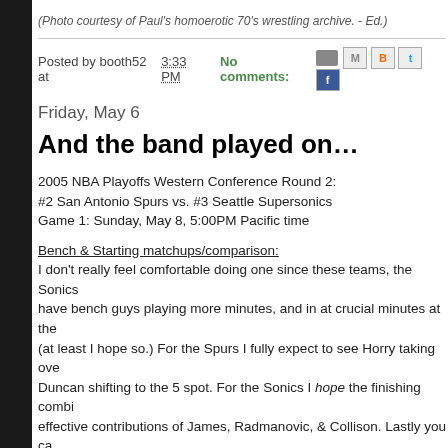(Photo courtesy of Paul's homoerotic 70's wrestling archive. - Ed.)
Posted by booth52 at 3:33 PM   No comments:
Friday, May 6
And the band played on…
2005 NBA Playoffs Western Conference Round 2:
#2 San Antonio Spurs vs. #3 Seattle Supersonics
Game 1: Sunday, May 8, 5:00PM Pacific time
Bench & Starting matchups/comparison:
I don't really feel comfortable doing one since these teams, the Sonics have bench guys playing more minutes, and in at crucial minutes at the (at least I hope so.) For the Spurs I fully expect to see Horry taking over Duncan shifting to the 5 spot. For the Sonics I hope the finishing combi effective contributions of James, Radmanovic, & Collison. Lastly you ca Yahoo, CNNSI etc. and get a much more involved analysis than I'd give think he's got Vitaly Potapenko being the X-factor or something.
Here are the lineups that concern me:
Spurs finishing 5:
Duncan